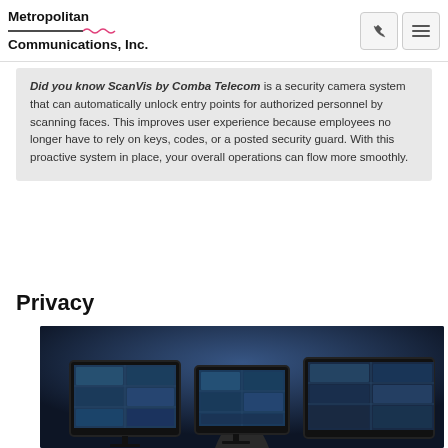Metropolitan Communications, Inc.
Did you know ScanVis by Comba Telecom is a security camera system that can automatically unlock entry points for authorized personnel by scanning faces. This improves user experience because employees no longer have to rely on keys, codes, or a posted security guard. With this proactive system in place, your overall operations can flow more smoothly.
Privacy
[Figure (photo): Person seen from behind sitting in front of multiple surveillance monitor screens showing security camera feeds, in a dark blue-toned room]